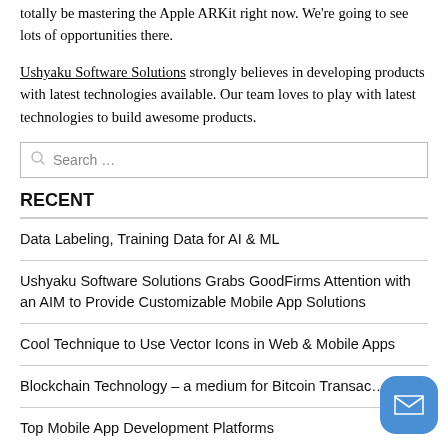totally be mastering the Apple ARKit right now. We're going to see lots of opportunities there.
Ushyaku Software Solutions strongly believes in developing products with latest technologies available. Our team loves to play with latest technologies to build awesome products.
Search …
RECENT
Data Labeling, Training Data for AI & ML
Ushyaku Software Solutions Grabs GoodFirms Attention with an AIM to Provide Customizable Mobile App Solutions
Cool Technique to Use Vector Icons in Web & Mobile Apps
Blockchain Technology – a medium for Bitcoin Transac…
Top Mobile App Development Platforms